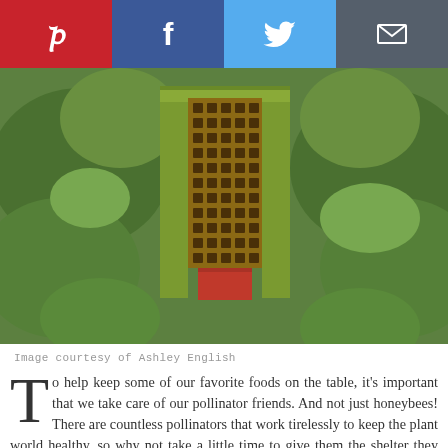[Figure (screenshot): Social media share buttons bar: Pinterest (red), Facebook (dark blue), Twitter (light blue), Email (dark gray), each with white icons]
[Figure (photo): A wooden pollinator house or bee hotel with a green painted body, honeycomb-like grid of square holes in brown wood, and a red base, hanging against a lush green leafy background]
Image courtesy of Ashley English
To help keep some of our favorite foods on the table, it's important that we take care of our pollinator friends. And not just honeybees! There are countless pollinators that work tirelessly to keep the plant world healthy, so why not take a little time to give them the shelter they deserve after a long day's work? With a little effort and creativity, you can craft a perfect pollinator house to add visual appeal to your garden and keep the pollinators coming back for more.